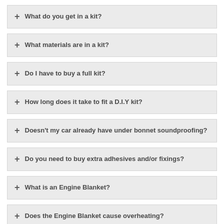+ What do you get in a kit?
+ What materials are in a kit?
+ Do I have to buy a full kit?
+ How long does it take to fit a D.I.Y kit?
+ Doesn't my car already have under bonnet soundproofing?
+ Do you need to buy extra adhesives and/or fixings?
+ What is an Engine Blanket?
+ Does the Engine Blanket cause overheating?
+ What are your delivery lead times?
+ Are there any accessories to help with fitting?